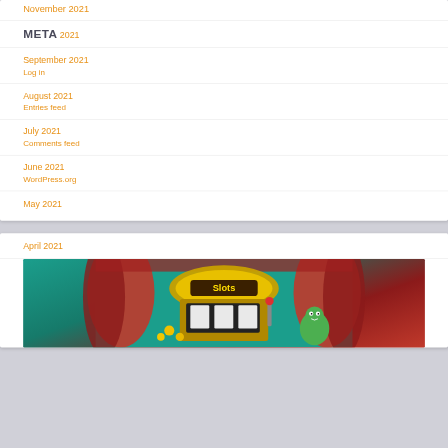November 2021
META
October 2021
September 2021
Log in
August 2021
Entries feed
July 2021
Comments feed
June 2021
WordPress.org
May 2021
April 2021
[Figure (illustration): Slots game promotional image showing a slot machine with carnival theme, red curtains, teal background, and cartoon character]